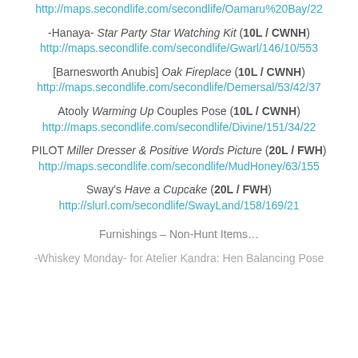http://maps.secondlife.com/secondlife/Oamaru%20Bay/22
-Hanaya- Star Party Star Watching Kit (10L / CWNH)
http://maps.secondlife.com/secondlife/Gwarl/146/10/553
[Barnesworth Anubis] Oak Fireplace (10L / CWNH)
http://maps.secondlife.com/secondlife/Demersal/53/42/37
Atooly Warming Up Couples Pose (10L / CWNH)
http://maps.secondlife.com/secondlife/Divine/151/34/22
PILOT Miller Dresser & Positive Words Picture (20L / FWH)
http://maps.secondlife.com/secondlife/MudHoney/63/155
Sway's Have a Cupcake (20L / FWH)
http://slurl.com/secondlife/SwayLand/158/169/21
Furnishings – Non-Hunt Items…
-Whiskey Monday- for Atelier Kandra: Hen Balancing Pose